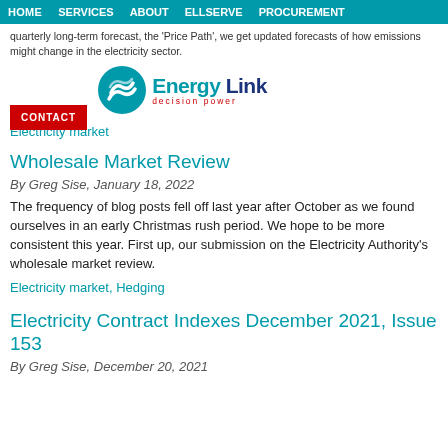HOME  SERVICES  ABOUT  ELLSERVE  PROCUREMENT
quarterly long-term forecast, the 'Price Path', we get updated forecasts of how emissions might change in the electricity sector.
[Figure (logo): Energy Link logo with teal swirl icon and tagline 'decision power']
CONTACT
Electricity market
Wholesale Market Review
By Greg Sise, January 18, 2022
The frequency of blog posts fell off last year after October as we found ourselves in an early Christmas rush period. We hope to be more consistent this year. First up, our submission on the Electricity Authority's wholesale market review.
Electricity market, Hedging
Electricity Contract Indexes December 2021, Issue 153
By Greg Sise, December 20, 2021